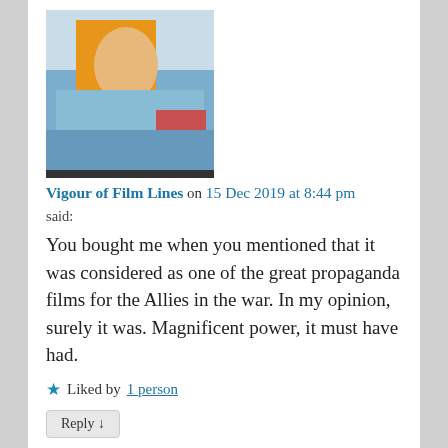[Figure (photo): Commenter avatar image showing a colorful painting of a person in orange with blue background]
Vigour of Film Lines on 15 Dec 2019 at 8:44 pm said:
You bought me when you mentioned that it was considered as one of the great propaganda films for the Allies in the war. In my opinion, surely it was. Magnificent power, it must have had.
★ Liked by 1 person
Reply ↓
[Figure (photo): Nested commenter avatar showing a bald man with light skin]
scifimike70 on 28 Aug 2021 at 10:03 pm said:
It gave me the best respect for Bogart's iconic delivery of film quotes